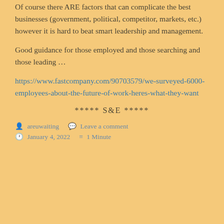Of course there ARE factors that can complicate the best businesses (government, political, competitor, markets, etc.) however it is hard to beat smart leadership and management.
Good guidance for those employed and those searching and those leading …
https://www.fastcompany.com/90703579/we-surveyed-6000-employees-about-the-future-of-work-heres-what-they-want
***** S&E *****
areuwaiting   Leave a comment   January 4, 2022   1 Minute